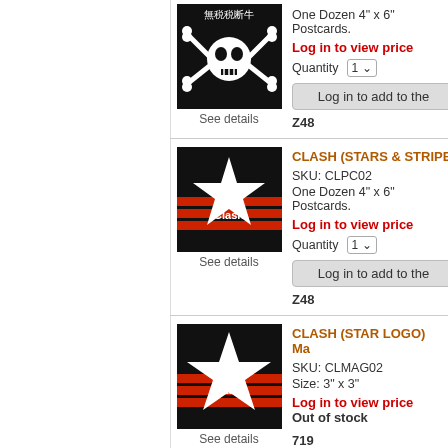[Figure (illustration): Skull and crossbones image with Japanese text on black background - partial top product]
See details
One Dozen 4" x 6" Postcards.
Log in to view price
Quantity  1
Log in to add to the
Z48
CLASH (STARS & STRIPE
SKU: CLPC02
One Dozen 4" x 6" Postcards.
Log in to view price
Quantity  1
Log in to add to the
Z48
[Figure (illustration): The Clash star logo with red stripes on black background - second product]
See details
CLASH (STAR LOGO) Ma
SKU: CLMAG02
Size: 3" x 3"
Log in to view price
Out of stock
[Figure (illustration): The Clash star logo with red stripes on black background - third product]
See details
719